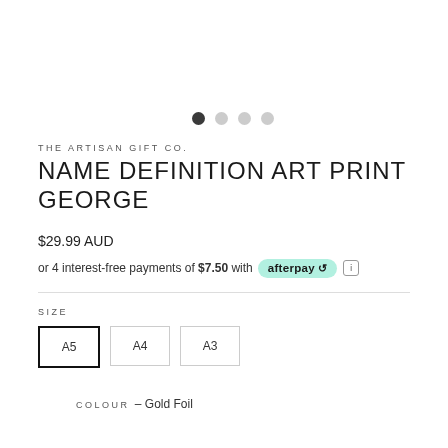[Figure (other): Image carousel dots navigation: one filled dark dot and three light grey dots]
THE ARTISAN GIFT CO.
NAME DEFINITION ART PRINT GEORGE
$29.99 AUD
or 4 interest-free payments of $7.50 with afterpay
SIZE
A5 A4 A3
COLOUR – Gold Foil